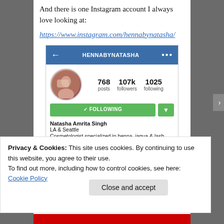And there is one Instagram account I always love looking at:
https://www.instagram.com/hennabynatasha/
[Figure (screenshot): Instagram profile screenshot for HENNABYNATASHA showing 768 posts, 107k followers, 1025 following, with a Following button, and bio for Natasha Amrita Singh, LA & Seattle, Cosmetologist specialized in henna, jagua & lash extensions, LASH page/owner of @Myshantibar]
Privacy & Cookies: This site uses cookies. By continuing to use this website, you agree to their use.
To find out more, including how to control cookies, see here:
Cookie Policy
Close and accept